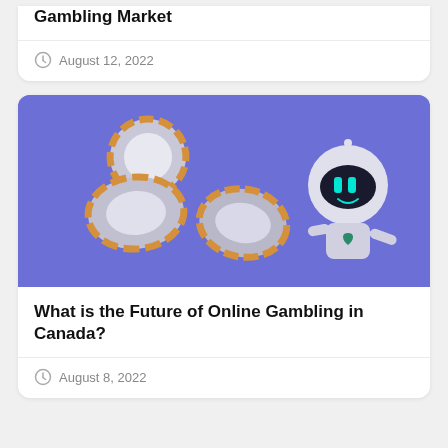Gambling Market
August 12, 2022
[Figure (illustration): 3D illustration of casino chips and a cute robot character on a purple/blue background]
What is the Future of Online Gambling in Canada?
August 8, 2022